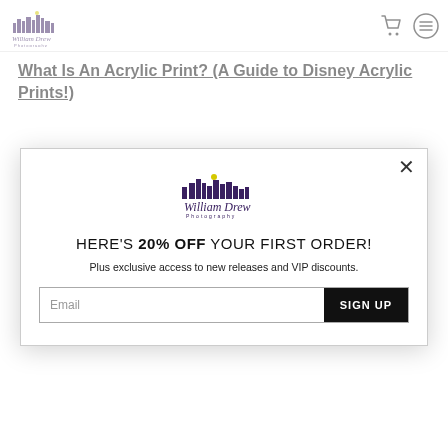William Drew Photography — navigation with cart and menu icons
What Is An Acrylic Print? (A Guide to Disney Acrylic Prints!)
[Figure (logo): William Drew Photography logo — city skyline silhouette with script text]
HERE'S 20% OFF YOUR FIRST ORDER!
Plus exclusive access to new releases and VIP discounts.
Email
SIGN UP